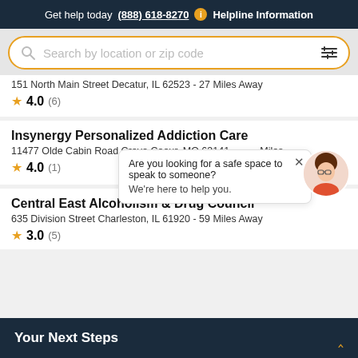Get help today (888) 618-8270 ℹ Helpline Information
[Figure (screenshot): Search bar with 'Search by location or zip code' placeholder and filter icon, surrounded by a gold border]
151 North Main Street Decatur, IL 62523 - 27 Miles Away
★ 4.0 (6)
Insynergy Personalized Addiction Care
11477 Olde Cabin Road Creve Coeur, MO 63141 - Miles
★ 4.0 (1)
Are you looking for a safe space to speak to someone? We're here to help you.
Central East Alcoholism & Drug Council
635 Division Street Charleston, IL 61920 - 59 Miles Away
★ 3.0 (5)
Your Next Steps ∧